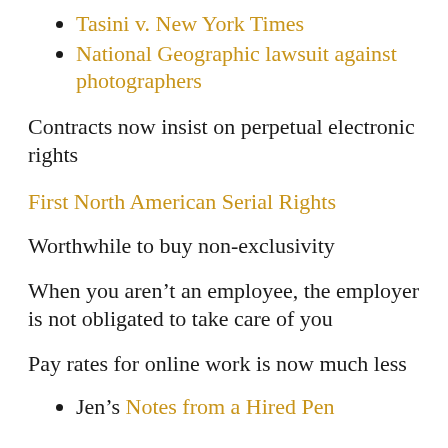Tasini v. New York Times
National Geographic lawsuit against photographers
Contracts now insist on perpetual electronic rights
First North American Serial Rights
Worthwhile to buy non-exclusivity
When you aren't an employee, the employer is not obligated to take care of you
Pay rates for online work is now much less
Jen's Notes from a Hired Pen